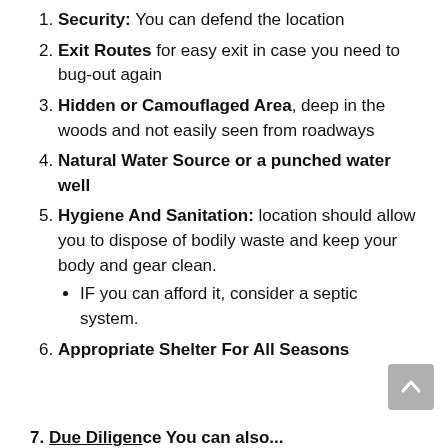Security: You can defend the location
Exit Routes for easy exit in case you need to bug-out again
Hidden or Camouflaged Area, deep in the woods and not easily seen from roadways
Natural Water Source or a punched water well
Hygiene And Sanitation: location should allow you to dispose of bodily waste and keep your body and gear clean.
IF you can afford it, consider a septic system.
Appropriate Shelter For All Seasons